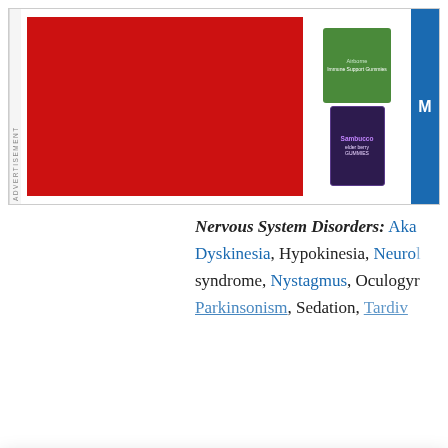[Figure (other): Advertisement banner with red background and product images (Sambucco gummies, green supplement box) and blue sidebar with M label]
Nervous System Disorders: Akathisia, Dyskinesia, Hypokinesia, Neurological syndrome, Nystagmus, Oculogyric, Parkinsonism, Sedation, Tardive
WebMD Survey
We'd like to learn about you through a survey that should take around 15 minutes of your time. After completion, you may be eligible to win one of 10 $500 gift cards.
Take the Survey
No Thanks
This survey is being conducted by the WebMD Marketing Research department. All information will be used in a manner consistent with the WebMD privacy policy. NO PURCHASE OR SURVEY NECESSARY TO ENTER OR WIN. A purchase or survey will not increase your chances of winning. Open to legal residents of the fifty (50) United States, and the District of Columbia (DC) who are age 18 or older, and to whom this offer is addressed. Sweepstakes starts at 12:00:01 AM ET on 1/24/22 and ends at 11:59:59 PM ET on 12/31/22. See Official Rules for complete details and alternate method of entry. Void where prohibited. SPONSOR: WebMD LLC.